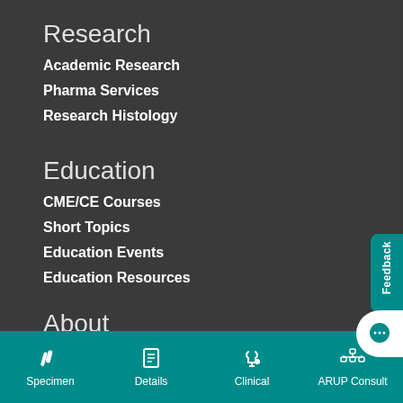Research
Academic Research
Pharma Services
Research Histology
Education
CME/CE Courses
Short Topics
Education Events
Education Resources
About
Specimen | Details | Clinical | ARUP Consult